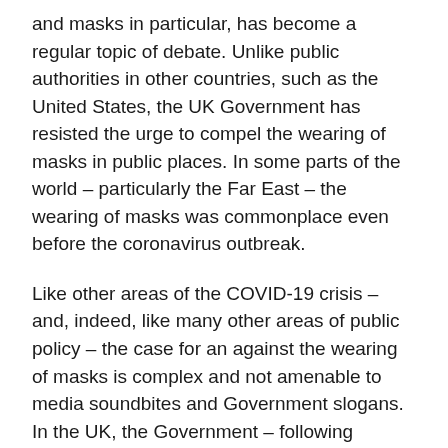and masks in particular, has become a regular topic of debate. Unlike public authorities in other countries, such as the United States, the UK Government has resisted the urge to compel the wearing of masks in public places. In some parts of the world – particularly the Far East – the wearing of masks was commonplace even before the coronavirus outbreak.
Like other areas of the COVID-19 crisis – and, indeed, like many other areas of public policy – the case for an against the wearing of masks is complex and not amenable to media soundbites and Government slogans. In the UK, the Government – following scientific advice – has repeatedly stated that the benefits of using masks is not proven. To cloud the issue, this conclusion is at least partly a product of a concern that making the wearing of masks compulsory would increase demand thereby resulting a shortage for healthcare workers.